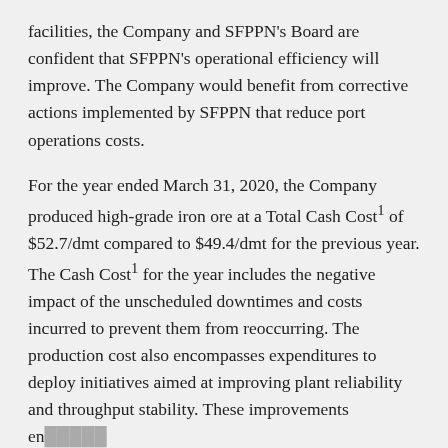facilities, the Company and SFPPN's Board are confident that SFPPN's operational efficiency will improve. The Company would benefit from corrective actions implemented by SFPPN that reduce port operations costs.
For the year ended March 31, 2020, the Company produced high-grade iron ore at a Total Cash Cost1 of $52.7/dmt compared to $49.4/dmt for the previous year. The Cash Cost1 for the year includes the negative impact of the unscheduled downtimes and costs incurred to prevent them from reoccurring. The production cost also encompasses expenditures to deploy initiatives aimed at improving plant reliability and throughput stability. These improvements en...